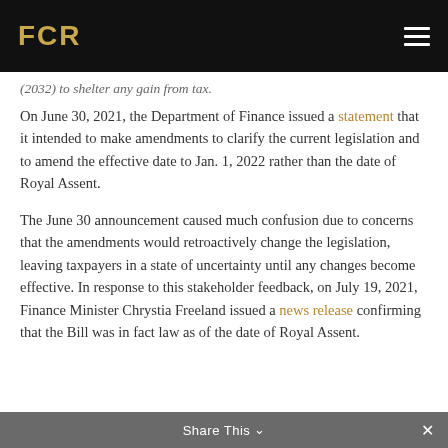FCR
(2032) to shelter any gain from tax.
On June 30, 2021, the Department of Finance issued a statement that it intended to make amendments to clarify the current legislation and to amend the effective date to Jan. 1, 2022 rather than the date of Royal Assent.
The June 30 announcement caused much confusion due to concerns that the amendments would retroactively change the legislation, leaving taxpayers in a state of uncertainty until any changes become effective. In response to this stakeholder feedback, on July 19, 2021, Finance Minister Chrystia Freeland issued a news release confirming that the Bill was in fact law as of the date of Royal Assent.
Share This